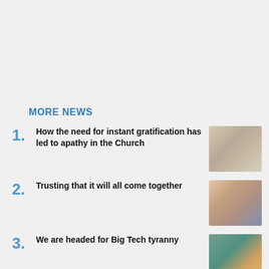MORE NEWS
1. How the need for instant gratification has led to apathy in the Church
2. Trusting that it will all come together
3. We are headed for Big Tech tyranny